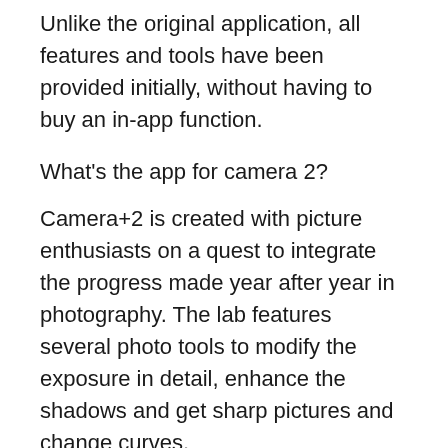Unlike the original application, all features and tools have been provided initially, without having to buy an in-app function.
What's the app for camera 2?
Camera+2 is created with picture enthusiasts on a quest to integrate the progress made year after year in photography. The lab features several photo tools to modify the exposure in detail, enhance the shadows and get sharp pictures and change curves.